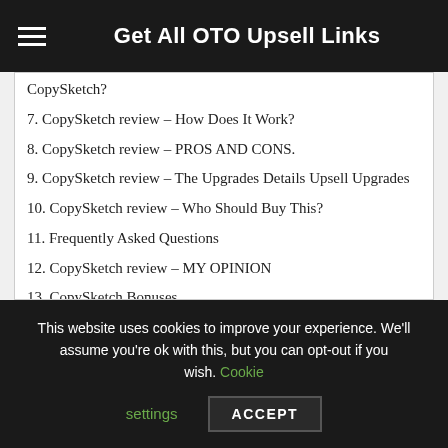Get All OTO Upsell Links
CopySketch?
7. CopySketch review – How Does It Work?
8. CopySketch review – PROS AND CONS.
9. CopySketch review – The Upgrades Details Upsell Upgrades
10. CopySketch review – Who Should Buy This?
11. Frequently Asked Questions
12. CopySketch review – MY OPINION
13. CopySketch Bonuses
14. Click Here To See All My Huge Bonuses==>http://ignitista.com/the-30-special-bonuses.
This website uses cookies to improve your experience. We'll assume you're ok with this, but you can opt-out if you wish. Cookie settings ACCEPT